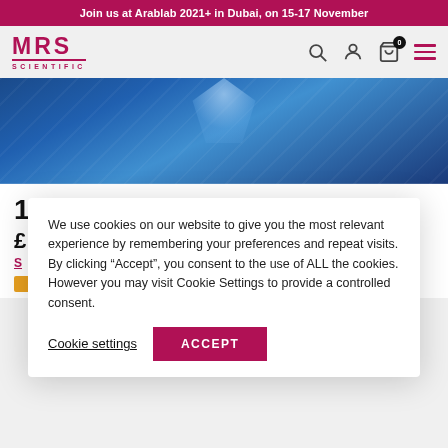Join us at Arablab 2021+ in Dubai, on 15-17 November
[Figure (logo): MRS Scientific logo in crimson/dark red]
[Figure (photo): Blue abstract background photo, possibly a diamond or crystal]
1... C... S...
£...
We use cookies on our website to give you the most relevant experience by remembering your preferences and repeat visits. By clicking "Accept", you consent to the use of ALL the cookies. However you may visit Cookie Settings to provide a controlled consent.
Cookie settings
ACCEPT